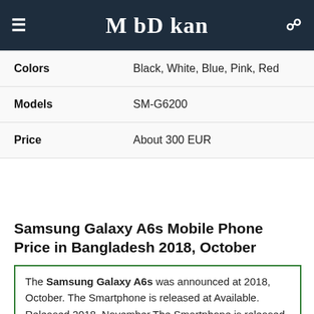MobDokan
| Attribute | Value |
| --- | --- |
| Colors | Black, White, Blue, Pink, Red |
| Models | SM-G6200 |
| Price | About 300 EUR |
Samsung Galaxy A6s Mobile Phone Price in Bangladesh 2018, October
The Samsung Galaxy A6s was announced at 2018, October. The Smartphone is released at Available. Released 2018, November.The Smartphone is released at Available. Released 2018, November.The Smartphone is Android 8.0 (Oreo) which consists of Octa-core CPU.The graphics of this device is powered by Adreno 512 GPU.It has 64GB 6GB RAM The device